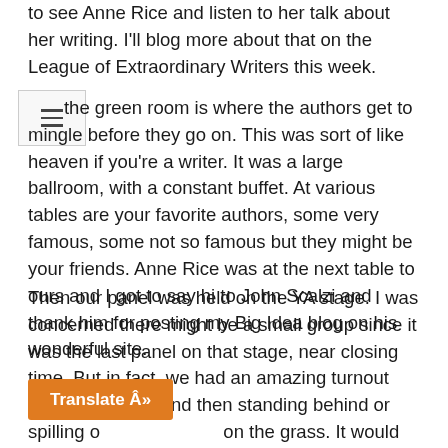to see Anne Rice and listen to her talk about her writing. I'll blog more about that on the League of Extraordinary Writers this week.
the green room is where the authors get to mingle before they go on. This was sort of like heaven if you're a writer. It was a large ballroom, with a constant buffet. At various tables are your favorite authors, some very famous, some not so famous but they might be your friends. Anne Rice was at the next table to ours and I got to say hi to John Scalzi and thank him for posting my Big Idea blog on his wonderful site.
Then our panel was held on the YA stage. I was concerned there might be a small group since it was the last panel on that stage, near closing time. But in fact, we had an amazing turnout filling the chairs and then standing behind or spilling o… on the grass. It would have been perfect e… …at kicked up, tossing our hair but also